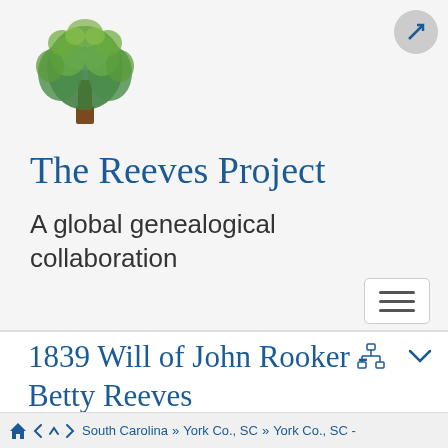[Figure (logo): Genealogy tree logo - a stylized tree with green leaves and brown trunk]
The Reeves Project
A global genealogical collaboration
1839 Will of John Rooker - Betty Reeves
South Carolina » York Co., SC » York Co., SC -